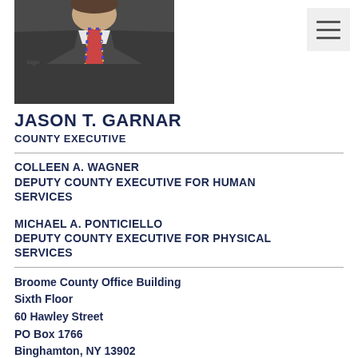[Figure (photo): Professional headshot of Jason T. Garnar in a dark suit and plaid tie]
JASON T. GARNAR
COUNTY EXECUTIVE
COLLEEN A. WAGNER
DEPUTY COUNTY EXECUTIVE FOR HUMAN SERVICES
MICHAEL A. PONTICIELLO
DEPUTY COUNTY EXECUTIVE FOR PHYSICAL SERVICES
Broome County Office Building
Sixth Floor
60 Hawley Street
PO Box 1766
Binghamton, NY 13902